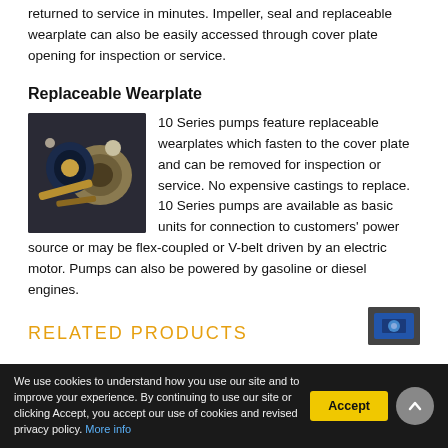returned to service in minutes. Impeller, seal and replaceable wearplate can also be easily accessed through cover plate opening for inspection or service.
Replaceable Wearplate
[Figure (photo): Photo of pump wearplate components including metal parts on dark background]
10 Series pumps feature replaceable wearplates which fasten to the cover plate and can be removed for inspection or service. No expensive castings to replace. 10 Series pumps are available as basic units for connection to customers' power source or may be flex-coupled or V-belt driven by an electric motor. Pumps can also be powered by gasoline or diesel engines.
RELATED PRODUCTS
We use cookies to understand how you use our site and to improve your experience. By continuing to use our site or clicking Accept, you accept our use of cookies and revised privacy policy. More info